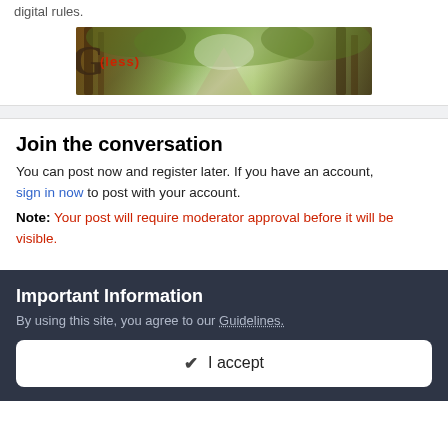digital rules.
[Figure (photo): A forest path photo used as a banner image with overlaid text showing 'G' and '(less)' in red]
Join the conversation
You can post now and register later. If you have an account, sign in now to post with your account.
Note: Your post will require moderator approval before it will be visible.
Important Information
By using this site, you agree to our Guidelines.
✔ I accept